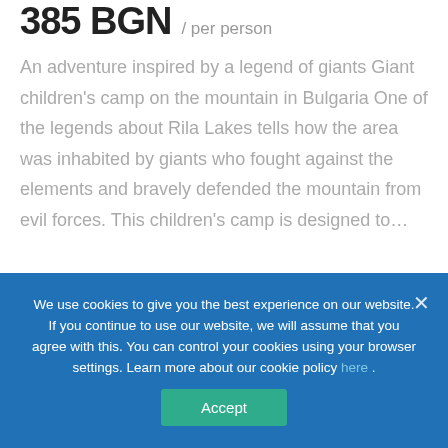385 BGN / per person
An adventure inspired by a legend of giants Giant children's camp on the mountain in Bulgaria One of the legends about Rila Lakes tells how the area was inhabited by giants who fought against the elements and bravely defended the mountain from evil forces. This children's camp is designed to…
We use cookies to give you the best experience on our website. If you continue to use our website, we will assume that you agree with this. You can control your cookies using your browser settings. Learn more about our cookie policy here . Accept